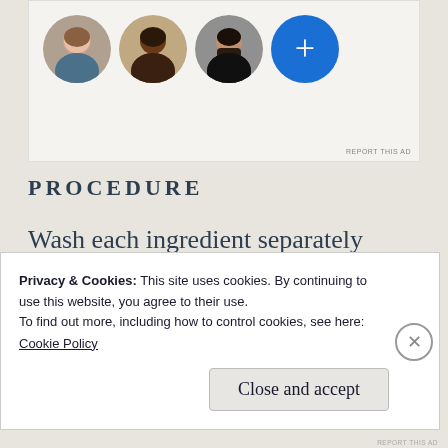[Figure (photo): Ad banner showing three circular avatar photos (woman with light skin, woman with dark skin, man with beard) and a blue circle with a white plus sign. Text 'REPORT THIS AD' in small letters at bottom right.]
PROCEDURE
Wash each ingredient separately once and make them dry either using fan or using sunlight. Wait until the components do not have water in it. You can use tissue papers to
Privacy & Cookies: This site uses cookies. By continuing to use this website, you agree to their use.
To find out more, including how to control cookies, see here:
Cookie Policy
Close and accept